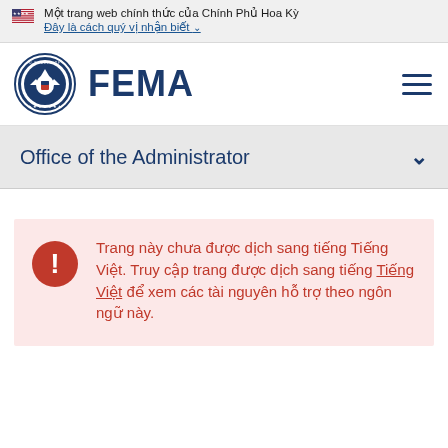Một trang web chính thức của Chính Phủ Hoa Kỳ
Đây là cách quý vị nhận biết
[Figure (logo): FEMA logo with Department of Homeland Security seal and FEMA text]
Office of the Administrator
Trang này chưa được dịch sang tiếng Tiếng Việt. Truy cập trang được dịch sang tiếng Tiếng Việt để xem các tài nguyên hỗ trợ theo ngôn ngữ này.